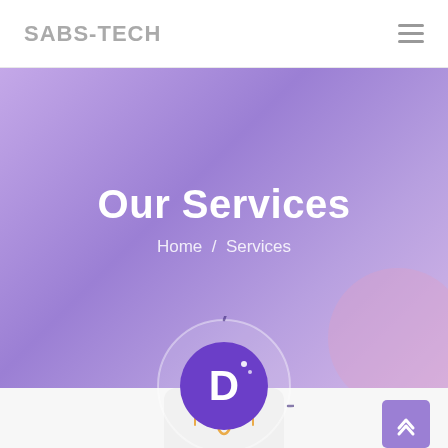SABS-TECH
Our Services
Home / Services
[Figure (logo): Circular ring with a purple filled circle inside containing a white stylized D with sparkle dots]
[Figure (illustration): Orange graphic design / typography icon partially visible at bottom center]
[Figure (other): Purple scroll-to-top button with upward arrow chevron at bottom right]